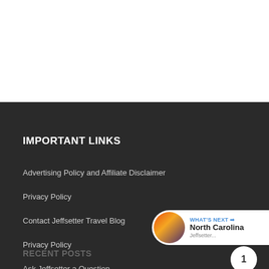IMPORTANT LINKS
Advertising Policy and Affiliate Disclaimer
Privacy Policy
Contact Jeffsetter Travel Blog
Privacy Policy
Ask Jeffsetter a Question
RECENT POSTS